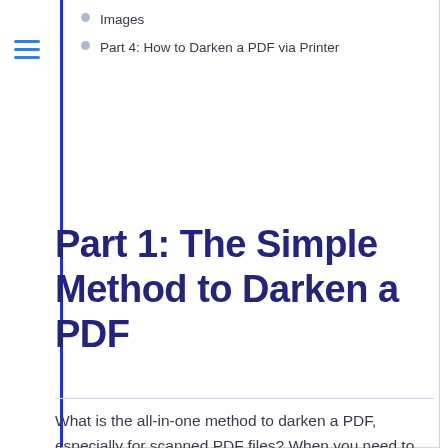Images
Part 4: How to Darken a PDF via Printer
Part 1: The Simple Method to Darken a PDF
What is the all-in-one method to darken a PDF, especially for scanned PDF files? When you need to adjust the contrast of a PDF text or make the PDF darker for printing, PDFelement is a versatile PDF editor that enables you to make the text from a PDF readable and printable. Moreover, there are